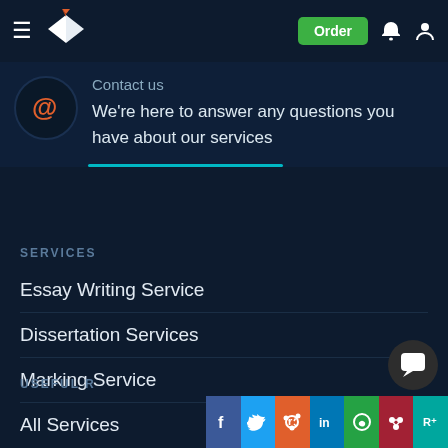Order
Contact us
We're here to answer any questions you have about our services
SERVICES
Essay Writing Service
Dissertation Services
Marking Service
All Services
USEFUL R...
[Figure (infographic): Social share buttons row: Facebook, Twitter, Reddit, LinkedIn, WhatsApp, Mendeley, ResearchGate]